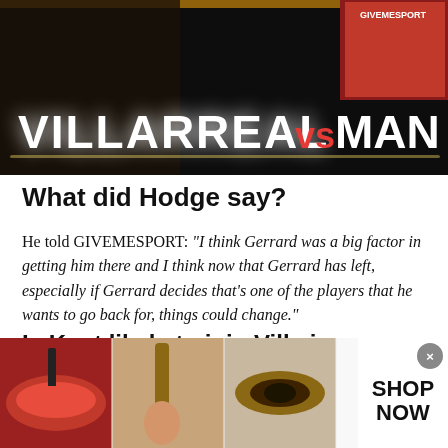[Figure (photo): Sports banner image with dark background showing VILLARREAL vs MAN UTD text in large bold white and red letters]
What did Hodge say?
He told GIVEMESPORT: “I think Gerrard was a big factor in getting him there and I think now that Gerrard has left, especially if Gerrard decides that’s one of the players that he wants to go back for, things could change.”
Is Kent likely to join Villa in January?
According to the Daily Record, Gerrard is
[Figure (photo): Advertisement banner for ULTA beauty products showing makeup/beauty images and SHOP NOW text]